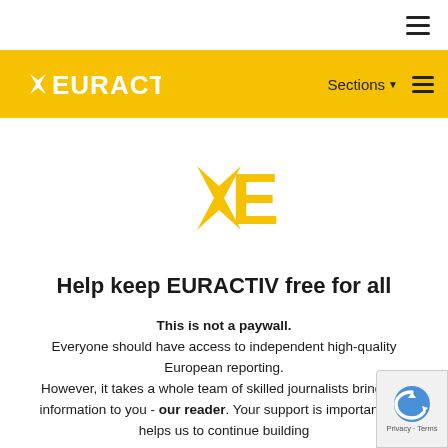EURACTIV — Sections navigation header
[Figure (logo): EURACTIV stylized YE monogram logo in gold/amber color, centered on white background]
Help keep EURACTIV free for all
This is not a paywall. Everyone should have access to independent high-quality European reporting. However, it takes a whole team of skilled journalists bring this information to you - our reader. Your support is important and helps us to continue building